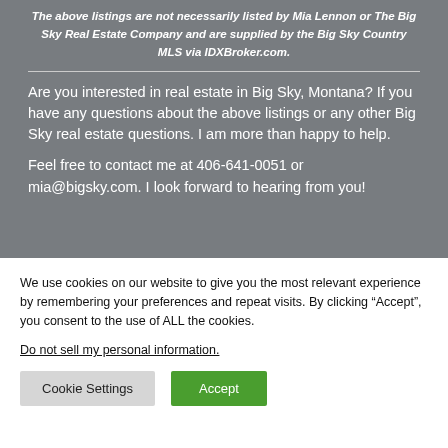The above listings are not necessarily listed by Mia Lennon or The Big Sky Real Estate Company and are supplied by the Big Sky Country MLS via IDXBroker.com.
Are you interested in real estate in Big Sky, Montana? If you have any questions about the above listings or any other Big Sky real estate questions. I am more than happy to help.

Feel free to contact me at 406-641-0051 or mia@bigsky.com. I look forward to hearing from you!
We use cookies on our website to give you the most relevant experience by remembering your preferences and repeat visits. By clicking “Accept”, you consent to the use of ALL the cookies.
Do not sell my personal information.